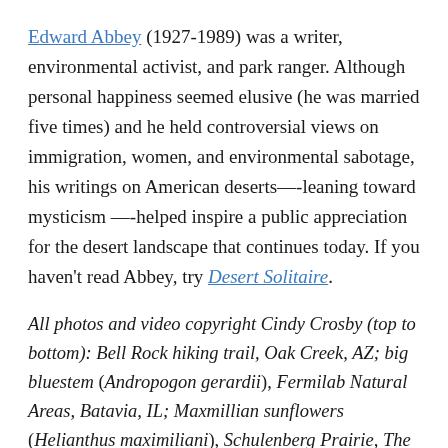Edward Abbey (1927-1989) was a writer, environmental activist, and park ranger. Although personal happiness seemed elusive (he was married five times) and he held controversial views on immigration, women, and environmental sabotage, his writings on American deserts—-leaning toward mysticism —-helped inspire a public appreciation for the desert landscape that continues today. If you haven't read Abbey, try Desert Solitaire.
All photos and video copyright Cindy Crosby (top to bottom): Bell Rock hiking trail, Oak Creek, AZ; big bluestem (Andropogon gerardii), Fermilab Natural Areas, Batavia, IL; Maxmillian sunflowers (Helianthus maximiliani), Schulenberg Prairie, The Morton Arboretum, Lisle, IL; unknown desert grasses